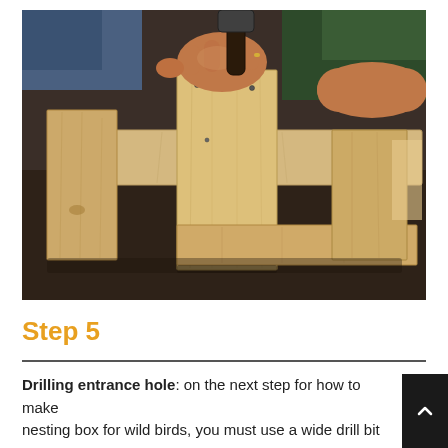[Figure (photo): A person hammering nails into a wooden birdhouse frame on a dark table. The wood pieces are pale pine/cedar, assembled into a box shape with a front panel being nailed on.]
Step 5
Drilling entrance hole: on the next step for how to make a nesting box for wild birds, you must use a wide drill bit t…